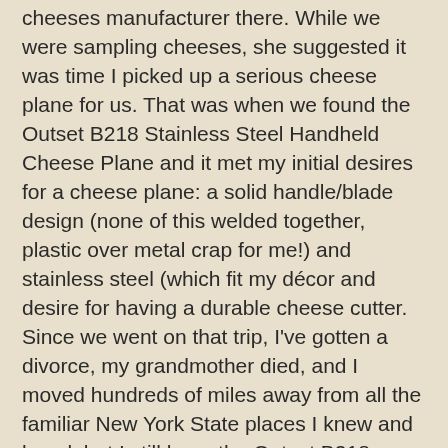cheeses manufacturer there. While we were sampling cheeses, she suggested it was time I picked up a serious cheese plane for us. That was when we found the Outset B218 Stainless Steel Handheld Cheese Plane and it met my initial desires for a cheese plane: a solid handle/blade design (none of this welded together, plastic over metal crap for me!) and stainless steel (which fit my décor and desire for having a durable cheese cutter. Since we went on that trip, I've gotten a divorce, my grandmother died, and I moved hundreds of miles away from all the familiar New York State places I knew and loved, but I still have the Outset B218 Stainless Steel Handheld Cheese Plane and it is in virtually the same condition as when I originally purchased it.
I know of no higher compliment for the product than that.
I used my Outset B218 Stainless Steel Handheld Cheese Plane on average once a day and clean it as frequently (it's the way to keep it sharp, sterile, and blemish-free!) and I've had it for at least six years now. Outset makes a quality product with the Outset B218 Stainless Steel Handheld Cheese Plane.